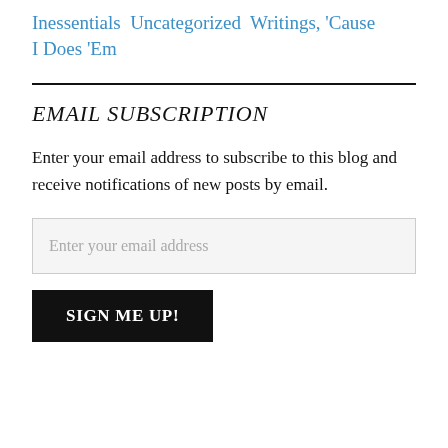Inessentials  Uncategorized  Writings, 'Cause I Does 'Em
EMAIL SUBSCRIPTION
Enter your email address to subscribe to this blog and receive notifications of new posts by email.
Enter your email address
SIGN ME UP!